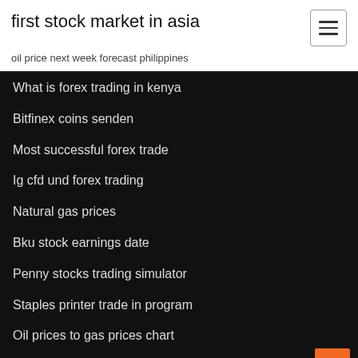first stock market in asia
oil price next week forecast philippines
What is forex trading in kenya
Bitfinex coins senden
Most successful forex trade
Ig cfd und forex trading
Natural gas prices
Bku stock earnings date
Penny stocks trading simulator
Staples printer trade in program
Oil prices to gas prices chart
How to find best stocks for intraday trading